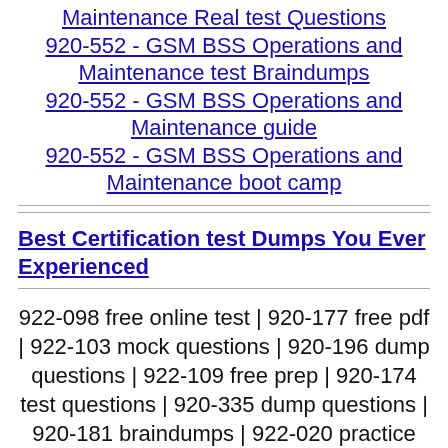Maintenance Real test Questions
920-552 - GSM BSS Operations and Maintenance test Braindumps
920-552 - GSM BSS Operations and Maintenance guide
920-552 - GSM BSS Operations and Maintenance boot camp
Best Certification test Dumps You Ever Experienced
922-098 free online test | 920-177 free pdf | 922-103 mock questions | 920-196 dump questions | 922-109 free prep | 920-174 test questions | 920-335 dump questions | 920-181 braindumps | 922-020 practice test |